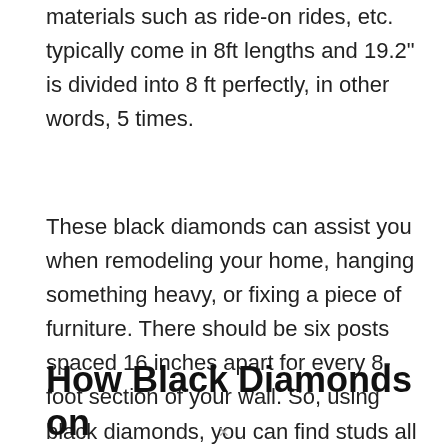materials such as ride-on rides, etc. typically come in 8ft lengths and 19.2" is divided into 8 ft perfectly, in other words, 5 times.
These black diamonds can assist you when remodeling your home, hanging something heavy, or fixing a piece of furniture. There should be six posts spaced 16 inches apart for every 8-foot section of your wall. So, using black diamonds, you can find studs all over your home and hang pictures of the studs.
How Black Diamonds on